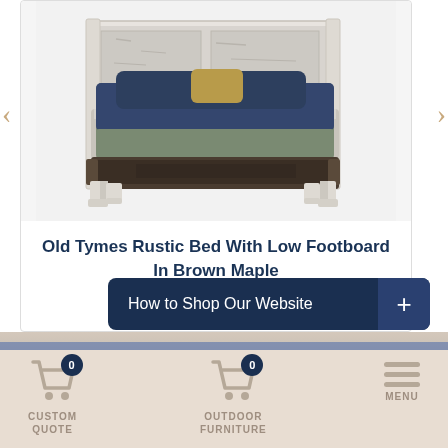[Figure (photo): Rustic white distressed wood bed with dark footboard, dark navy blue bedding and pillows with a gold accent pillow]
Old Tymes Rustic Bed With Low Footboard In Brown Maple
Starting at $2060
How to Shop Our Website +
[Figure (infographic): Custom Quote cart icon with badge showing 0]
[Figure (infographic): Outdoor Furniture cart icon with badge showing 0]
[Figure (infographic): Hamburger menu icon with MENU label]